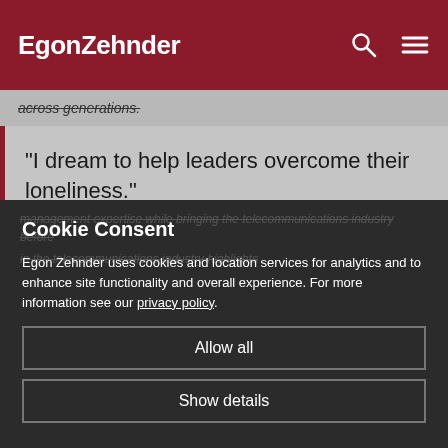EgonZehnder
across generations.
“I dream to help leaders overcome their loneliness.”
Cookie Consent
Egon Zehnder uses cookies and location services for analytics and to enhance site functionality and overall experience. For more information see our privacy policy.
Allow all
Show details